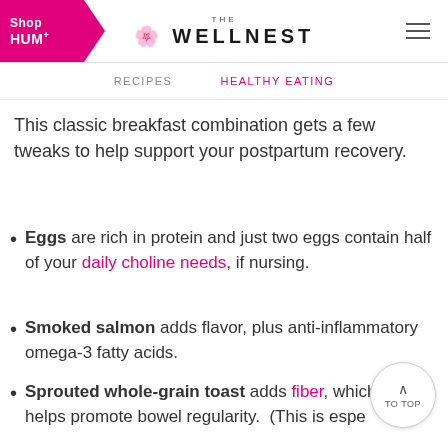Shop HUM+ | THE WELLNEST
RECIPES   HEALTHY EATING
This classic breakfast combination gets a few tweaks to help support your postpartum recovery.
Eggs are rich in protein and just two eggs contain half of your daily choline needs, if nursing.
Smoked salmon adds flavor, plus anti-inflammatory omega-3 fatty acids.
Sprouted whole-grain toast adds fiber, which also helps promote bowel regularity. (This is especially helpful, as you want to avoid straining when you go to the bathroom postpartum!) Normally I'm full on...